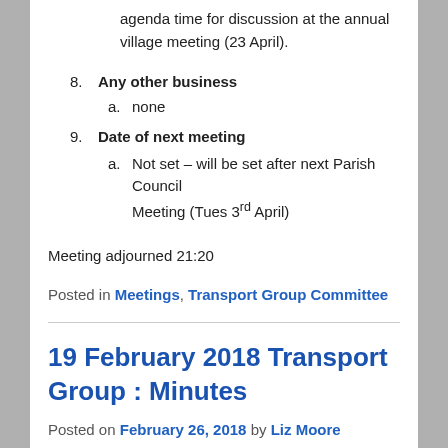agenda time for discussion at the annual village meeting (23 April).
8. Any other business
a. none
9. Date of next meeting
a. Not set – will be set after next Parish Council Meeting (Tues 3rd April)
Meeting adjourned 21:20
Posted in Meetings, Transport Group Committee
19 February 2018 Transport Group : Minutes
Posted on February 26, 2018 by Liz Moore